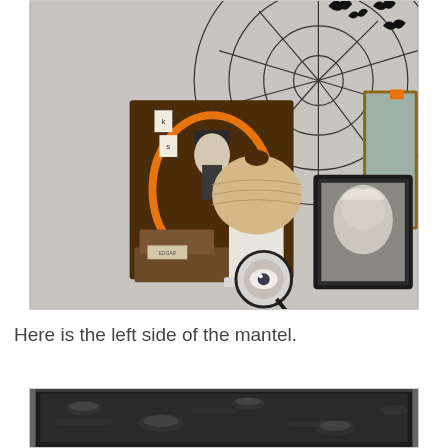[Figure (photo): Halloween mantel decoration with spider web backdrop, bats, framed portrait of man in top hat with orange oval frame, fabric pumpkin on white pedestal, small orange pumpkin, old wooden boxes, magnifying glass with eyeball, framed clown portrait, mirror reflection, and orange tag.]
Here is the left side of the mantel.
[Figure (photo): Close-up of ornate black picture frame showing carved decorative details, partially cropped at bottom of page.]